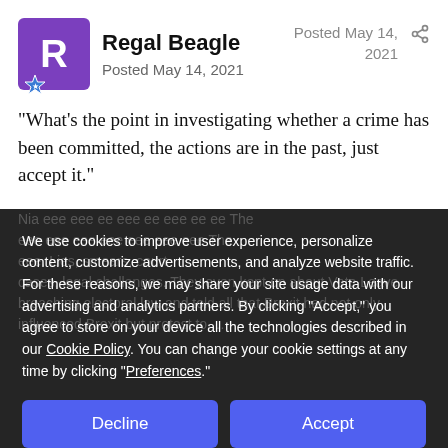Regal Beagle
Posted May 14, 2021
Posted May 14, 2021
"What's the point in investigating whether a crime has been committed, the actions are in the past, just accept it."
We use cookies to improve user experience, personalize content, customize advertisements, and analyze website traffic. For these reasons, we may share your site usage data with our advertising and analytics partners. By clicking “Accept,” you agree to store on your device all the technologies described in our Cookie Policy. You can change your cookie settings at any time by clicking “Preferences.”
Decline
Accept
Preferences
They didn't accept the result. If they have accepted it now